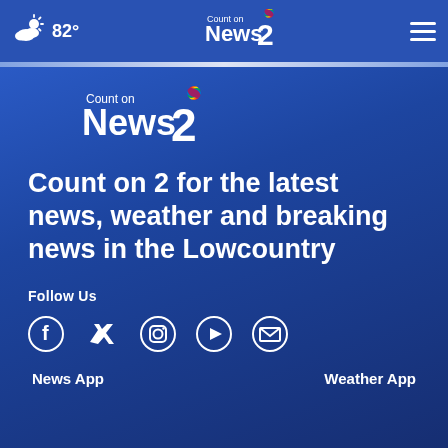82° Count on News 2
[Figure (logo): Count on News 2 NBC affiliate logo]
Count on 2 for the latest news, weather and breaking news in the Lowcountry
Follow Us
[Figure (infographic): Social media icons: Facebook, Twitter, Instagram, YouTube, Email]
News App    Weather App